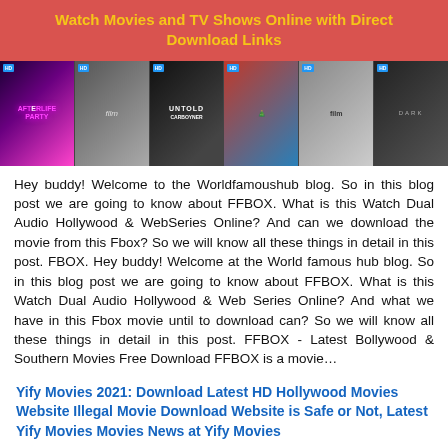Watch Movies and TV Shows Online with Direct Download Links
[Figure (illustration): Movie poster banner showing 6 film thumbnails including Afterlife Party, an unnamed film, Untold (Carboyner), a colorful group movie, a man in hat, and a dark thriller.]
Hey buddy! Welcome to the Worldfamoushub blog. So in this blog post we are going to know about FFBOX. What is this Watch Dual Audio Hollywood & WebSeries Online? And can we download the movie from this Fbox? So we will know all these things in detail in this post. FBOX. Hey buddy! Welcome at the World famous hub blog. So in this blog post we are going to know about FFBOX. What is this Watch Dual Audio Hollywood & Web Series Online? And what we have in this Fbox movie until to download can? So we will know all these things in detail in this post. FFBOX - Latest Bollywood & Southern Movies Free Download FFBOX is a movie…
Yify Movies 2021: Download Latest HD Hollywood Movies Website Illegal Movie Download Website is Safe or Not, Latest Yify Movies Movies News at Yify Movies